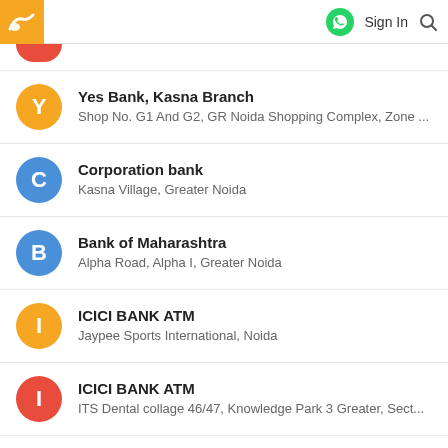Sign In
Yes Bank, Kasna Branch
Shop No. G1 And G2, GR Noida Shopping Complex, Zone ...
Corporation bank
Kasna Village, Greater Noida
Bank of Maharashtra
Alpha Road, Alpha I, Greater Noida
ICICI BANK ATM
Jaypee Sports International, Noida
ICICI BANK ATM
ITS Dental collage 46/47, Knowledge Park 3 Greater, Sect...